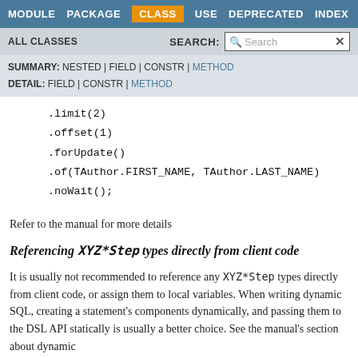MODULE  PACKAGE  CLASS  USE  DEPRECATED  INDEX  HELP
ALL CLASSES   SEARCH:
SUMMARY: NESTED | FIELD | CONSTR | METHOD
DETAIL: FIELD | CONSTR | METHOD
.limit(2)
.offset(1)
.forUpdate()
.of(TAuthor.FIRST_NAME, TAuthor.LAST_NAME)
.noWait();
Refer to the manual for more details
Referencing XYZ*Step types directly from client code
It is usually not recommended to reference any XYZ*Step types directly from client code, or assign them to local variables. When writing dynamic SQL, creating a statement's components dynamically, and passing them to the DSL API statically is usually a better choice. See the manual's section about dynamic